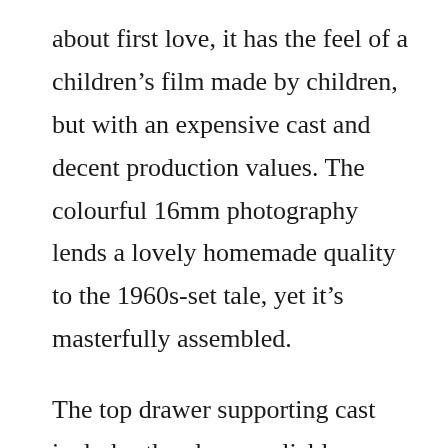about first love, it has the feel of a children's film made by children, but with an expensive cast and decent production values. The colourful 16mm photography lends a lovely homemade quality to the 1960s-set tale, yet it's masterfully assembled.

The top drawer supporting cast includes the always reliable Frances McDormand, Bill Murray, Bruce Willis, Edward Norton and Tilda Swinton. But the two young leads – Kara Hayward as the depressed Suzy and